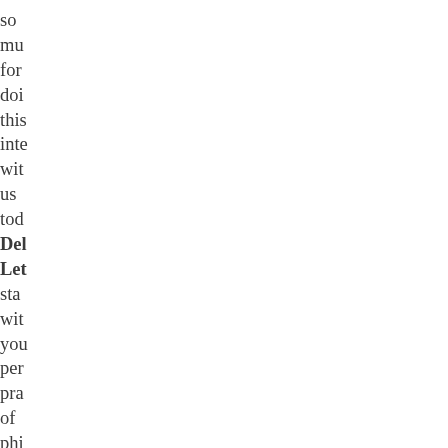so mu for doi this inte wit us tod Del Let sta wit you per pra of phi Wh are the ple anc